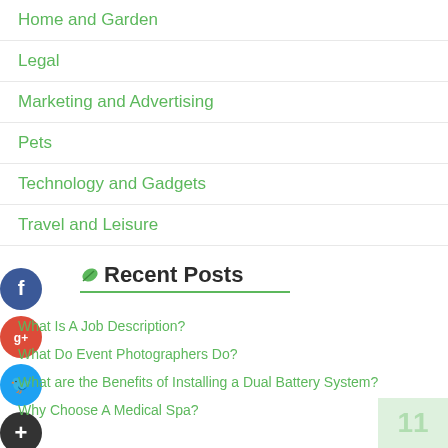Home and Garden
Legal
Marketing and Advertising
Pets
Technology and Gadgets
Travel and Leisure
[Figure (infographic): Social sharing icons: Facebook (blue circle with f), Google+ (red circle with g+), Twitter (blue circle with bird), Add/Plus (dark circle with +)]
Recent Posts
What Is A Job Description?
What Do Event Photographers Do?
What are the Benefits of Installing a Dual Battery System?
Why Choose A Medical Spa?